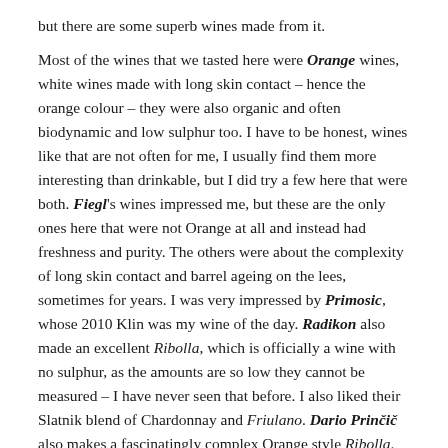but there are some superb wines made from it.
Most of the wines that we tasted here were Orange wines, white wines made with long skin contact – hence the orange colour – they were also organic and often biodynamic and low sulphur too. I have to be honest, wines like that are not often for me, I usually find them more interesting than drinkable, but I did try a few here that were both. Fiegl's wines impressed me, but these are the only ones here that were not Orange at all and instead had freshness and purity. The others were about the complexity of long skin contact and barrel ageing on the lees, sometimes for years. I was very impressed by Primosic, whose 2010 Klin was my wine of the day. Radikon also made an excellent Ribolla, which is officially a wine with no sulphur, as the amounts are so low they cannot be measured – I have never seen that before. I also liked their Slatnik blend of Chardonnay and Friulano. Dario Prinčič also makes a fascinatingly complex Orange style Ribolla.